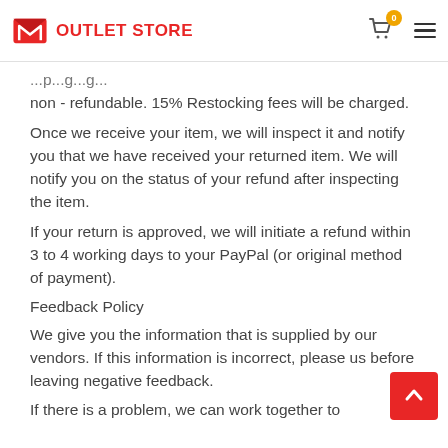OUTLET STORE
...p...g...g... non - refundable. 15% Restocking fees will be charged.
Once we receive your item, we will inspect it and notify you that we have received your returned item. We will notify you on the status of your refund after inspecting the item.
If your return is approved, we will initiate a refund within 3 to 4 working days to your PayPal (or original method of payment).
Feedback Policy
We give you the information that is supplied by our vendors. If this information is incorrect, please us before leaving negative feedback.
If there is a problem, we can work together to